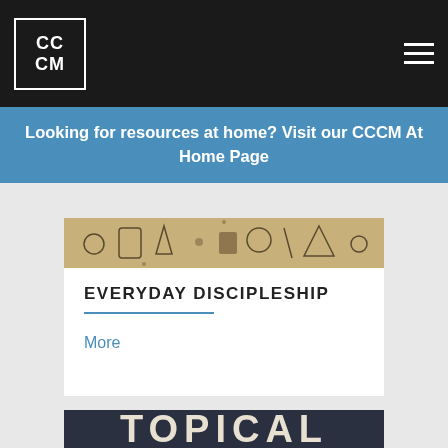CC CM
Looking for resources at home? Visit our CCCM At Home Page
[Figure (illustration): Illustrated banner strip with hand-drawn icons on a tan/kraft paper background]
EVERYDAY DISCIPLESHIP
More
[Figure (photo): Dark navy/charcoal background with the word TOPICAL in large bold cream letters]